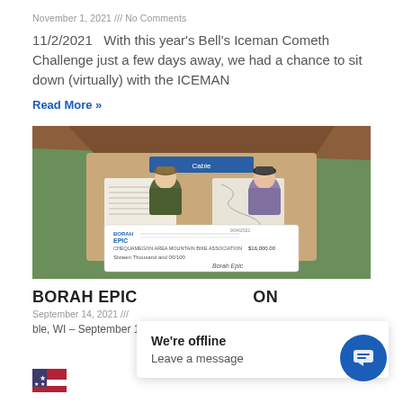November 1, 2021 /// No Comments
11/2/2021   With this year's Bell's Iceman Cometh Challenge just a few days away, we had a chance to sit down (virtually) with the ICEMAN
Read More »
[Figure (photo): Two men standing in front of a trail kiosk board labeled 'Cable', holding a large Borah Epic check made out to Chequamegon Area Mountain Bike Association for $16,000.00 - Sixteen Thousand and 00/100]
BORAH EPIC ON
September 14, 2021 ///
ble, WI – September 14, 2021   The 2021 Borah Epic
We're offline
Leave a message